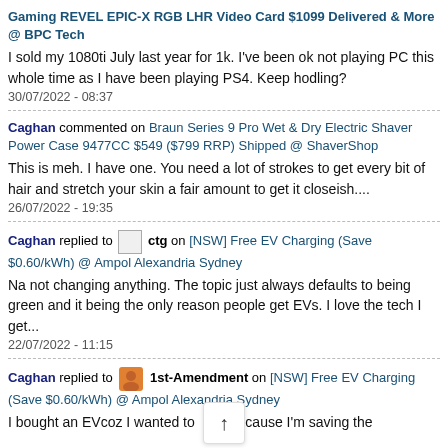Gaming REVEL EPIC-X RGB LHR Video Card $1099 Delivered & More @ BPC Tech
I sold my 1080ti July last year for 1k. I've been ok not playing PC this whole time as I have been playing PS4. Keep hodling?
30/07/2022 - 08:37
Caghan commented on Braun Series 9 Pro Wet & Dry Electric Shaver Power Case 9477CC $549 ($799 RRP) Shipped @ ShaverShop
This is meh. I have one. You need a lot of strokes to get every bit of hair and stretch your skin a fair amount to get it closeish....
26/07/2022 - 19:35
Caghan replied to [avatar] ctg on [NSW] Free EV Charging (Save $0.60/kWh) @ Ampol Alexandria Sydney
Na not changing anything. The topic just always defaults to being green and it being the only reason people get EVs. I love the tech I get...
22/07/2022 - 11:15
Caghan replied to [avatar] 1st-Amendment on [NSW] Free EV Charging (Save $0.60/kWh) @ Ampol Alexandria Sydney
I bought an EVcoz I wanted to because I'm saving the